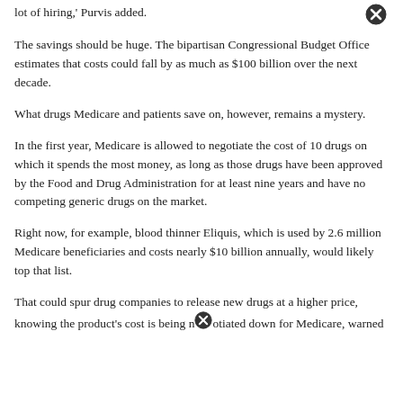lot of hiring,' Purvis added.
[Figure (other): Close/cancel button icon (circle with X)]
The savings should be huge. The bipartisan Congressional Budget Office estimates that costs could fall by as much as $100 billion over the next decade.
What drugs Medicare and patients save on, however, remains a mystery.
In the first year, Medicare is allowed to negotiate the cost of 10 drugs on which it spends the most money, as long as those drugs have been approved by the Food and Drug Administration for at least nine years and have no competing generic drugs on the market.
Right now, for example, blood thinner Eliquis, which is used by 2.6 million Medicare beneficiaries and costs nearly $10 billion annually, would likely top that list.
That could spur drug companies to release new drugs at a higher price, knowing the product's cost is being negotiated down for Medicare, warned
[Figure (other): Close/cancel button icon (circle with X) inline in text]